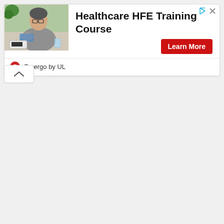[Figure (photo): Advertisement banner for Emergo by UL Healthcare HFE Training Course. Shows a person having blood pressure measured with a sphygmomanometer. Contains a red 'Learn More' button and Emergo by UL branding.]
Healthcare HFE Training Course
Learn More
Emergo by UL